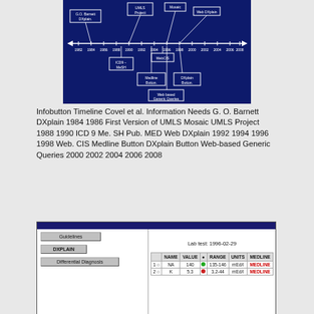[Figure (screenshot): Infobutton Timeline diagram showing a horizontal timeline from 1982 to 2008 with labeled boxes: G.O. Barnett DXplain, UMLS Project, Mosaic, Web DXplain, ICD9-MeSH, WebCIS, Medline Button, DXplain Button, Web-based Generic Queries on a dark blue background.]
Infobutton Timeline Covel et al. Information Needs G. O. Barnett DXplain 1984 1986 First Version of UMLS Mosaic UMLS Project 1988 1990 ICD 9 Me. SH Pub. MED Web DXplain 1992 1994 1996 1998 Web. CIS Medline Button DXplain Button Web-based Generic Queries 2000 2002 2004 2006 2008
[Figure (screenshot): Screenshot of a clinical information system interface showing Guidelines, DXplain, and Differential Diagnosis buttons on the left panel, and a lab test table dated 1996-02-29 with columns NAME, VALUE, dot indicator, RANGE, UNITS, MEDLINE showing rows for NA (value 140, range 135-146, mEd/l, MEDLINE link in red) and K (value 5.3, range 3.2-44, mEd/l, MEDLINE link in red).]